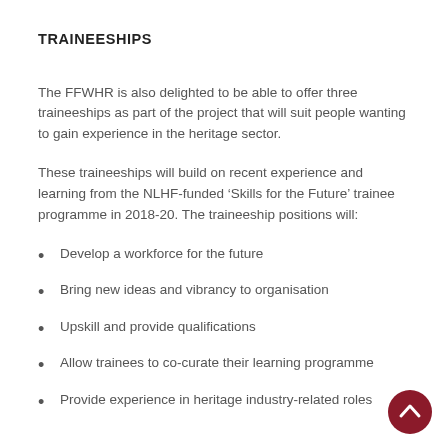TRAINEESHIPS
The FFWHR is also delighted to be able to offer three traineeships as part of the project that will suit people wanting to gain experience in the heritage sector.
These traineeships will build on recent experience and learning from the NLHF-funded ‘Skills for the Future’ trainee programme in 2018-20. The traineeship positions will:
Develop a workforce for the future
Bring new ideas and vibrancy to organisation
Upskill and provide qualifications
Allow trainees to co-curate their learning programme
Provide experience in heritage industry-related roles